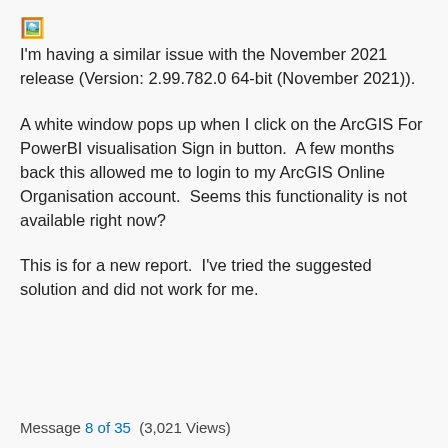I'm having a similar issue with the November 2021 release (Version: 2.99.782.0 64-bit (November 2021)).
A white window pops up when I click on the ArcGIS For PowerBI visualisation Sign in button.  A few months back this allowed me to login to my ArcGIS Online Organisation account.  Seems this functionality is not available right now?
This is for a new report.  I've tried the suggested solution and did not work for me.
Message 8 of 35  (3,021 Views)